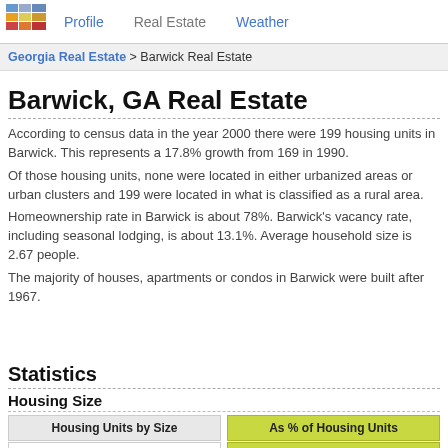Profile | Real Estate | Weather
Georgia Real Estate > Barwick Real Estate
Barwick, GA Real Estate
According to census data in the year 2000 there were 199 housing units in Barwick. This represents a 17.8% growth from 169 in 1990.
Of those housing units, none were located in either urbanized areas or urban clusters and 199 were located in what is classified as a rural area.
Homeownership rate in Barwick is about 78%. Barwick’s vacancy rate, including seasonal lodging, is about 13.1%. Average household size is 2.67 people.
The majority of houses, apartments or condos in Barwick were built after 1967.
Statistics
Housing Size
| Housing Units by Size | As % of Housing Units |
| --- | --- |